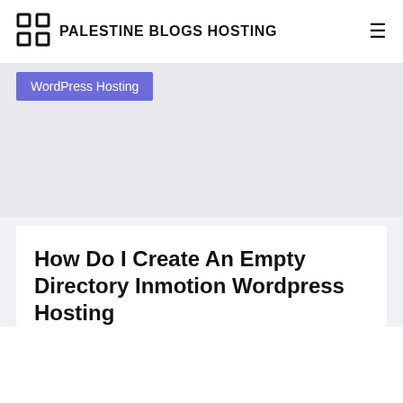PALESTINE BLOGS HOSTING
WordPress Hosting
How Do I Create An Empty Directory Inmotion Wordpress Hosting